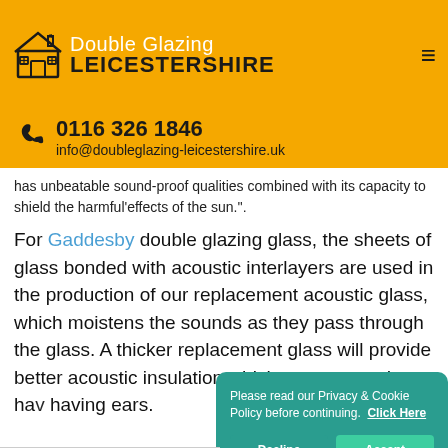Double Glazing LEICESTERSHIRE
0116 326 1846
info@doubleglazing-leicestershire.uk
has unbeatable sound-proof qualities combined with its capacity to shield the harmful effects of the sun.".
For Gaddesby double glazing glass, the sheets of glass bonded with acoustic interlayers are used in the production of our replacement acoustic glass, which moistens the sounds as they pass through the glass. A thicker replacement glass will provide better acoustic insulation which means you do not ha... having ears.
Please read our Privacy & Cookie Policy before continuing. Click Here